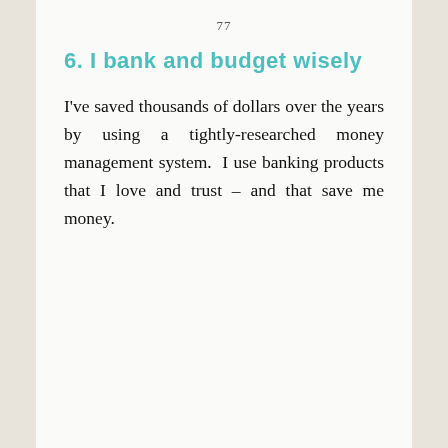77
6. I bank and budget wisely
I've saved thousands of dollars over the years by using a tightly-researched money management system. I use banking products that I love and trust – and that save me money.